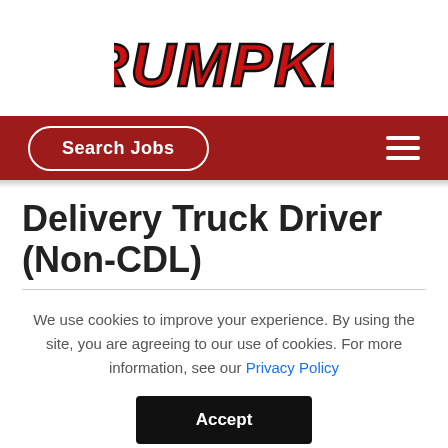[Figure (logo): Rumpke company logo in red bold stylized font with black outline]
Search Jobs
Delivery Truck Driver (Non-CDL)
We use cookies to improve your experience. By using the site, you are agreeing to our use of cookies. For more information, see our Privacy Policy
Accept